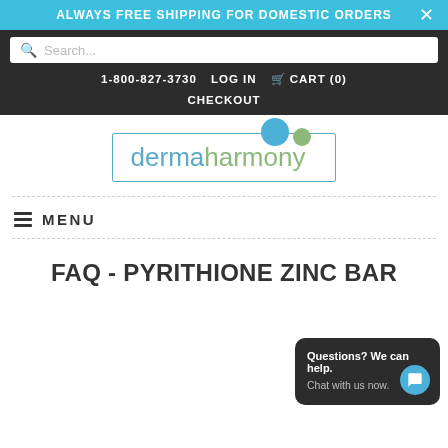ALWAYS FREE SHIPPING FOR DOMESTIC ORDERS
Search...
1-800-827-3730  LOG IN  CART (0)  CHECKOUT
[Figure (logo): Dermaharmony logo with blue and green dots above the text in a bordered box]
≡ MENU
FAQ - PYRITHIONE ZINC BAR
Questions? We can help.
Chat with us now.